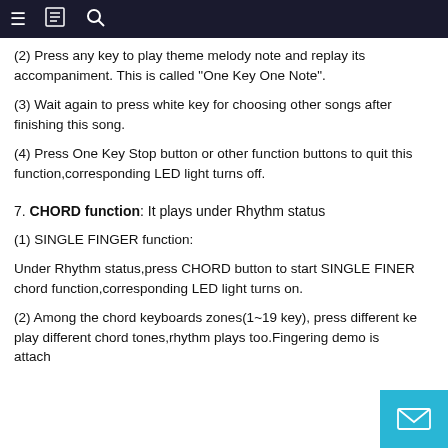≡  📖  🔍
(2) Press any key to play theme melody note and replay its accompaniment. This is called "One Key One Note".
(3) Wait again to press white key for choosing other songs after finishing this song.
(4) Press One Key Stop button or other function buttons to quit this function,corresponding LED light turns off.
7. CHORD function: It plays under Rhythm status
(1) SINGLE FINGER function:
Under Rhythm status,press CHORD button to start SINGLE FINER chord function,corresponding LED light turns on.
(2) Among the chord keyboards zones(1~19 key), press different key play different chord tones,rhythm plays too.Fingering demo is attached